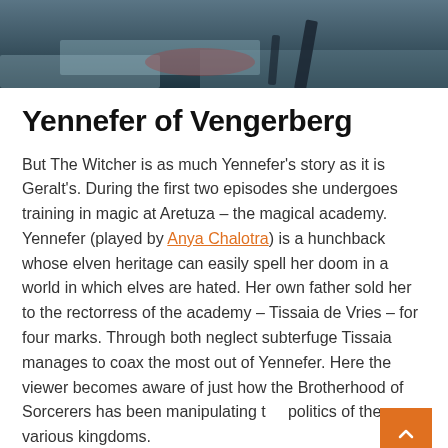[Figure (photo): A dark, moody outdoor scene with snow or sand, with a dark object (possibly a weapon/tool) visible in the lower right area. Dark blue-grey tones.]
Yennefer of Vengerberg
But The Witcher is as much Yennefer's story as it is Geralt's. During the first two episodes she undergoes training in magic at Aretuza – the magical academy. Yennefer (played by Anya Chalotra) is a hunchback whose elven heritage can easily spell her doom in a world in which elves are hated. Her own father sold her to the rectorress of the academy – Tissaia de Vries – for four marks. Through both neglect subterfuge Tissaia manages to coax the most out of Yennefer. Here the viewer becomes aware of just how the Brotherhood of Sorcerers has been manipulating the politics of the various kingdoms.